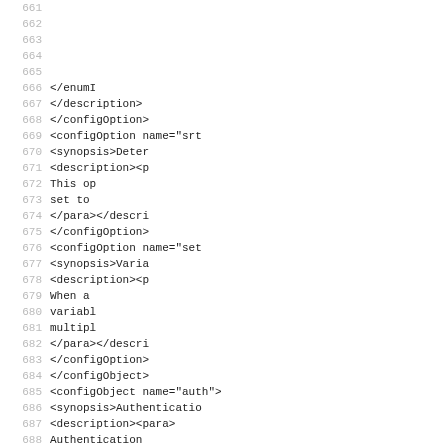Code listing lines 661-692 showing XML configuration markup with configOption and configObject elements